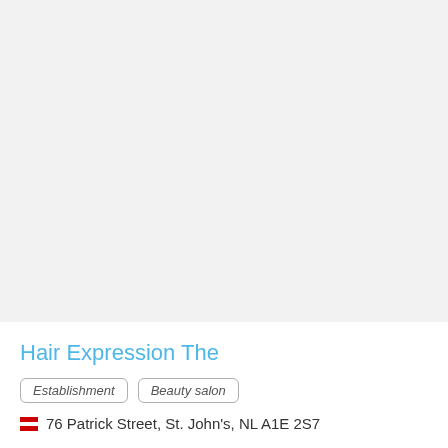Hair Expression The
Establishment
Beauty salon
76 Patrick Street, St. John's, NL A1E 2S7